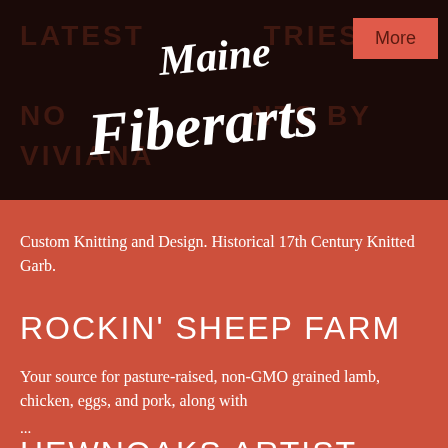[Figure (logo): Maine Fiberarts logo in white handwritten script on dark brown background, with faint uppercase text 'LATEST ENTRIES' and 'NO PRINTS BY VIVIANA' visible in background]
More
Custom Knitting and Design. Historical 17th Century Knitted Garb.
ROCKIN' SHEEP FARM
Your source for pasture-raised, non-GMO grained lamb, chicken, eggs, and pork, along with
...
HEWNOAKS ARTIST